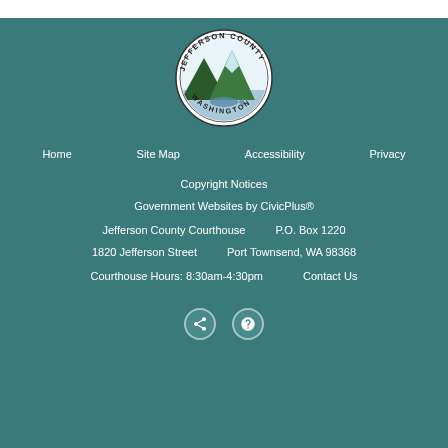[Figure (logo): Jefferson County Washington seal/logo — circular seal with mountains and fish, text JEFFERSON COUNTY WASHINGTON around the border]
Home
Site Map
Accessibility
Privacy
Copyright Notices
Government Websites by CivicPlus®
Jefferson County Courthouse    P.O. Box 1220
1820 Jefferson Street    Port Townsend, WA 98368
Courthouse Hours: 8:30am-4:30pm    Contact Us